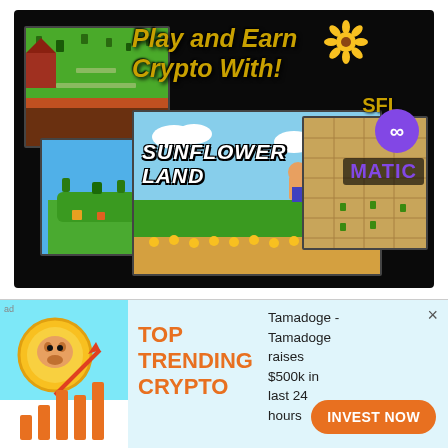[Figure (screenshot): YouTube video thumbnail for 'Play and Earn with Sunflower Land' showing game screenshots, the text 'Play and Earn Crypto With!' in gold, SFL token logo, MATIC logo, and Sunflower Land game title.]
Play and Earn with Sunflower Land | A beginners guide.
Deerhavencrypto
[Figure (infographic): Advertisement banner for Tamadoge - TOP TRENDING CRYPTO. Shows a Shiba Inu coin with upward arrow and bar chart. Text: Tamadoge - Tamadoge raises $500k in last 24 hours. Button: INVEST NOW]